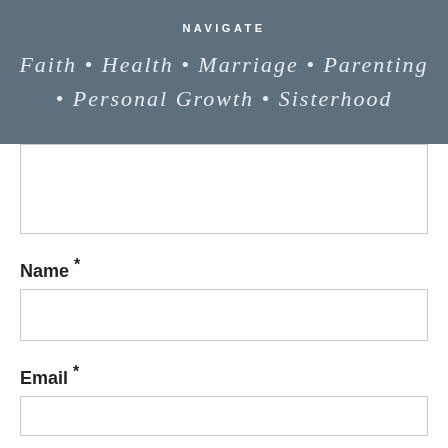NAVIGATE
Faith • Health • Marriage • Parenting • Personal Growth • Sisterhood
[textarea input field]
Name *
[name input field]
Email *
[email input field]